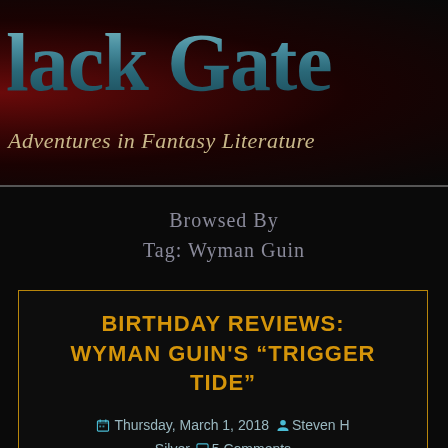[Figure (logo): Black Gate - Adventures in Fantasy Literature website header banner with dark red atmospheric background and metallic blue-teal stylized text]
Black Gate
Adventures in Fantasy Literature
Browsed By
Tag: Wyman Guin
BIRTHDAY REVIEWS: WYMAN GUIN'S “TRIGGER TIDE”
Thursday, March 1, 2018 Steven H Silver 5 Comments